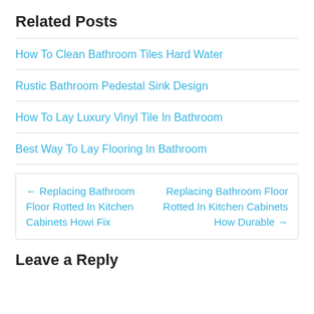Related Posts
How To Clean Bathroom Tiles Hard Water
Rustic Bathroom Pedestal Sink Design
How To Lay Luxury Vinyl Tile In Bathroom
Best Way To Lay Flooring In Bathroom
← Replacing Bathroom Floor Rotted In Kitchen Cabinets Howi Fix
Replacing Bathroom Floor Rotted In Kitchen Cabinets How Durable →
Leave a Reply